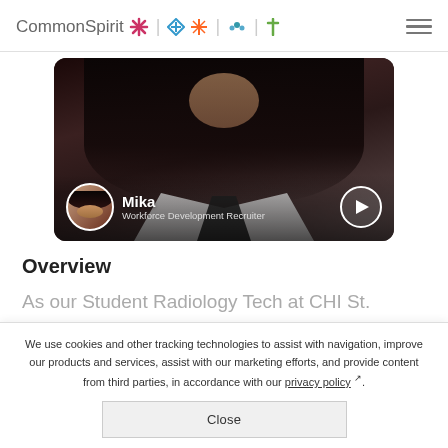CommonSpirit
[Figure (photo): Video thumbnail showing recruiter named Mika, Workforce Development Recruiter, with play button overlay]
Overview
As our Student Radiology Tech at CHI St. Vincent,  you'll be responsible for performing high quality radiographic
We use cookies and other tracking technologies to assist with navigation, improve our products and services, assist with our marketing efforts, and provide content from third parties, in accordance with our privacy policy.
Close